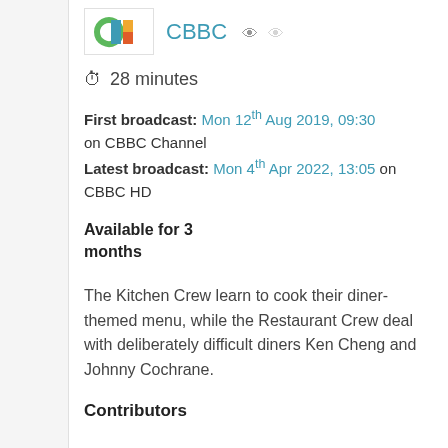[Figure (logo): CBBC channel logo with colorful design]
CBBC
28 minutes
First broadcast: Mon 12th Aug 2019, 09:30 on CBBC Channel Latest broadcast: Mon 4th Apr 2022, 13:05 on CBBC HD
Available for 3 months
The Kitchen Crew learn to cook their diner-themed menu, while the Restaurant Crew deal with deliberately difficult diners Ken Cheng and Johnny Cochrane.
Contributors